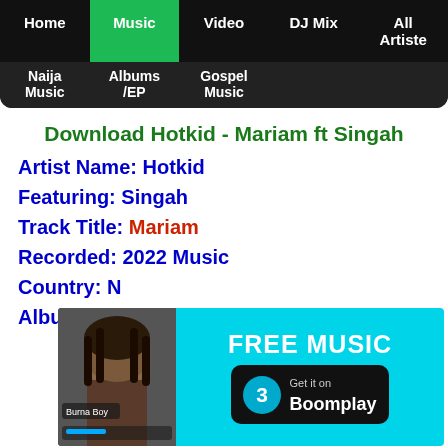Home | Music | Video | DJ Mix | All Artiste
Naija Music | Albums/EP | Gospel Music
Download Hotkid - Mariam ft Singah
Artist Name: Hotkid
Featuring: Singah
Track Title: Mariam
Recorded: 2022 Music
Country: N[igeria]
Album Nam[e:]
[Figure (infographic): Boomplay FREE MUSIC advertisement banner with artist photo (Burna Boy) and Boomplay logo]